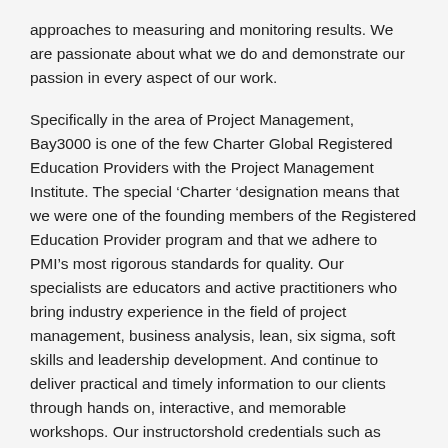approaches to measuring and monitoring results. We are passionate about what we do and demonstrate our passion in every aspect of our work.
Specifically in the area of Project Management, Bay3000 is one of the few Charter Global Registered Education Providers with the Project Management Institute. The special ‘Charter ‘designation means that we were one of the founding members of the Registered Education Provider program and that we adhere to PMI’s most rigorous standards for quality. Our specialists are educators and active practitioners who bring industry experience in the field of project management, business analysis, lean, six sigma, soft skills and leadership development. And continue to deliver practical and timely information to our clients through hands on, interactive, and memorable workshops. Our instructorshold credentials such as PMP, PMI-RMP, PMI-SP, PMI-ACP, PgMP, CBAP, ITIL, LSS BB and MBBs. This means they bring real life stories and examples to your